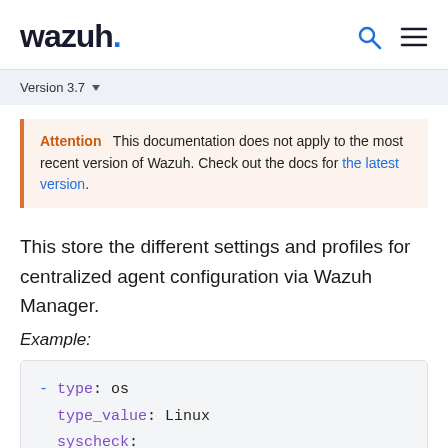wazuh.
Version 3.7
Attention   This documentation does not apply to the most recent version of Wazuh. Check out the docs for the latest version.
This store the different settings and profiles for centralized agent configuration via Wazuh Manager.
Example:
- type: os
  type_value: Linux
  syscheck: